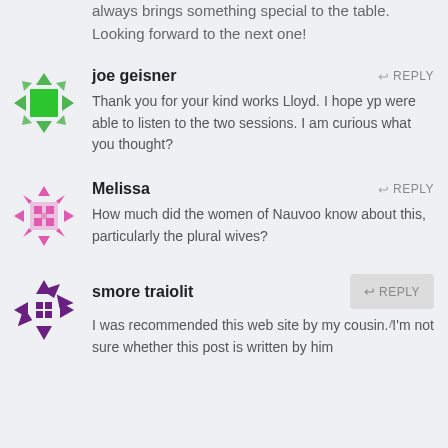always brings something special to the table. Looking forward to the next one!
joe geisner
REPLY
Thank you for your kind works Lloyd. I hope yp were able to listen to the two sessions. I am curious what you thought?
[Figure (illustration): Green geometric avatar icon for joe geisner]
Melissa
REPLY
How much did the women of Nauvoo know about this, particularly the plural wives?
[Figure (illustration): Pink geometric avatar icon for Melissa]
smore traiolit
REPLY
I was recommended this web site by my cousin. I'm not sure whether this post is written by him
[Figure (illustration): Purple geometric avatar icon for smore traiolit]